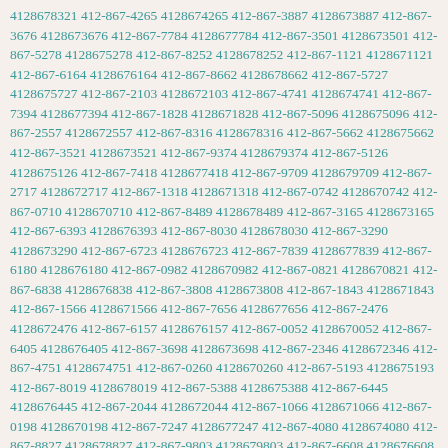4128678321 412-867-4265 4128674265 412-867-3887 4128673887 412-867-3676 4128673676 412-867-7784 4128677784 412-867-3501 4128673501 412-867-5278 4128675278 412-867-8252 4128678252 412-867-1121 4128671121 412-867-6164 4128676164 412-867-8662 4128678662 412-867-5727 4128675727 412-867-2103 4128672103 412-867-4741 4128674741 412-867-7394 4128677394 412-867-1828 4128671828 412-867-5096 4128675096 412-867-2557 4128672557 412-867-8316 4128678316 412-867-5662 4128675662 412-867-3521 4128673521 412-867-9374 4128679374 412-867-5126 4128675126 412-867-7418 4128677418 412-867-9709 4128679709 412-867-2717 4128672717 412-867-1318 4128671318 412-867-0742 4128670742 412-867-0710 4128670710 412-867-8489 4128678489 412-867-3165 4128673165 412-867-6393 4128676393 412-867-8030 4128678030 412-867-3290 4128673290 412-867-6723 4128676723 412-867-7839 4128677839 412-867-6180 4128676180 412-867-0982 4128670982 412-867-0821 4128670821 412-867-6838 4128676838 412-867-3808 4128673808 412-867-1843 4128671843 412-867-1566 4128671566 412-867-7656 4128677656 412-867-2476 4128672476 412-867-6157 4128676157 412-867-0052 4128670052 412-867-6405 4128676405 412-867-3698 4128673698 412-867-2346 4128672346 412-867-4751 4128674751 412-867-0260 4128670260 412-867-5193 4128675193 412-867-8019 4128678019 412-867-5388 4128675388 412-867-6445 4128676445 412-867-2044 4128672044 412-867-1066 4128671066 412-867-0198 4128670198 412-867-7247 4128677247 412-867-4080 4128674080 412-867-8827 4128678827 412-867-9803 4128679803 412-867-6608 4128676608 412-867-9404 4128679404 412-867-3968 4128673968 412-867-5924 4128675924 412-867-3152 4128673152 412-